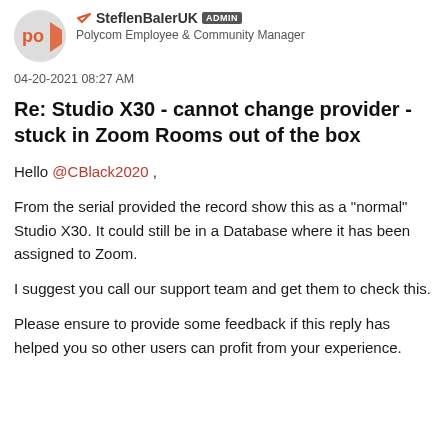SteflenBaIerUK ADMIN — Polycom Employee & Community Manager
04-20-2021 08:27 AM
Re: Studio X30 - cannot change provider - stuck in Zoom Rooms out of the box
Hello @CBlack2020 ,
From the serial provided the record show this as a "normal" Studio X30. It could still be in a Database where it has been assigned to Zoom.
I suggest you call our support team and get them to check this.
Please ensure to provide some feedback if this reply has helped you so other users can profit from your experience.